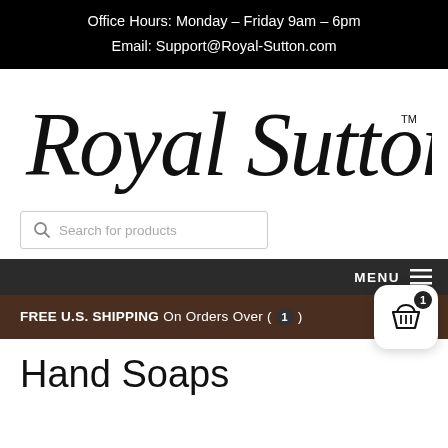Office Hours: Monday – Friday 9am – 6pm
Email: Support@Royal-Sutton.com
[Figure (logo): Royal Sutton cursive script logo with TM mark]
Search for products
MENU
FREE U.S. SHIPPING On Orders Over (1)
Hand Soaps